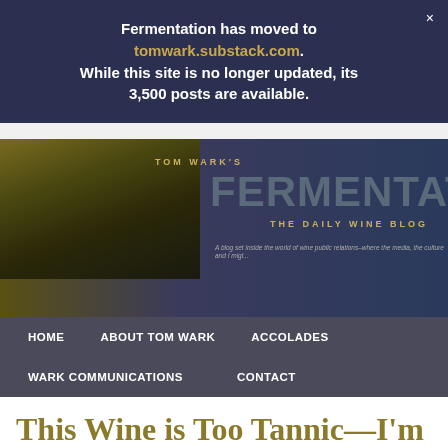Fermentation has moved to tomwark.substack.com. While this site is no longer updated, its 3,500 posts are available.
[Figure (screenshot): Tom Wark's Fermentation - The Daily Wine Blog header image with photo of man and site title]
HOME   ABOUT TOM WARK   ACCOLADES   WARK COMMUNICATIONS   CONTACT
This Wine is Too Tannic—I'm Suing!!
Posted by Tom Wark on Apr 9, 2014